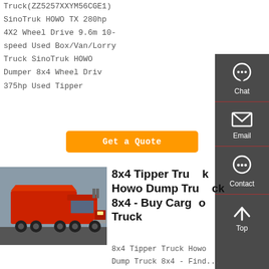Truck(ZZ5257XXYM56CGE1) SinoTruk HOWO TX 280hp 4X2 Wheel Drive 9.6m 10-speed Used Box/Van/Lorry Truck SinoTruk HOWO Dumper 8x4 Wheel Drive 375hp Used Tipper
[Figure (other): Orange 'Get a Quote' button]
[Figure (other): Dark sidebar with Chat, Email, Contact, and Top navigation icons]
[Figure (photo): Red Howo dump truck 8x4 photographed from the front-left angle]
8x4 Tipper Truck Howo Dump Truck 8x4 - Buy Cargo Truck
8x4 Tipper Truck Howo Dump Truck 8x4 - Find...